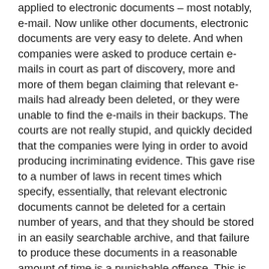applied to electronic documents – most notably, e-mail. Now unlike other documents, electronic documents are very easy to delete. And when companies were asked to produce certain e-mails in court as part of discovery, more and more of them began claiming that relevant e-mails had already been deleted, or they were unable to find the e-mails in their backups. The courts are not really stupid, and quickly decided that the companies were lying in order to avoid producing incriminating evidence. This gave rise to a number of laws in recent times which specify, essentially, that relevant electronic documents cannot be deleted for a certain number of years, and that they should be stored in an easily searchable archive, and that failure to produce these documents in a reasonable amount of time is a punishable offense. This is terrible news for most companies, because now, all “important” emails (for a very loose definition of “important”) must be stored for many years. Existing backup systems are not good enough, because those are not really searchable by content. And the